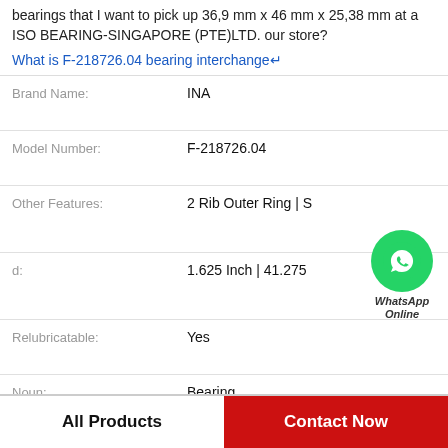bearings that I want to pick up 36,9 mm x 46 mm x 25,38 mm at a ISO BEARING-SINGAPORE (PTE)LTD. our store?
What is F-218726.04 bearing interchange↵
| Field | Value |
| --- | --- |
| Brand Name: | INA |
| Model Number: | F-218726.04 |
| Other Features: | 2 Rib Outer Ring | S |
| d: | 1.625 Inch | 41.275 |
| Relubricatable: | Yes |
| Noun: | Bearing |
| Manufacturer Name: | REGAL BELOIT |
[Figure (logo): WhatsApp Online green circle badge with phone icon and text 'WhatsApp Online']
All Products
Contact Now